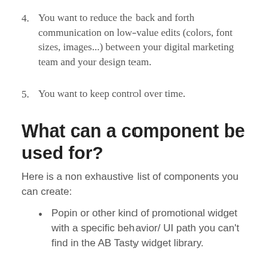4. You want to reduce the back and forth communication on low-value edits (colors, font sizes, images...) between your digital marketing team and your design team.
5. You want to keep control over time.
What can a component be used for?
Here is a non exhaustive list of components you can create:
Popin or other kind of promotional widget with a specific behavior/ UI path you can't find in the AB Tasty widget library.